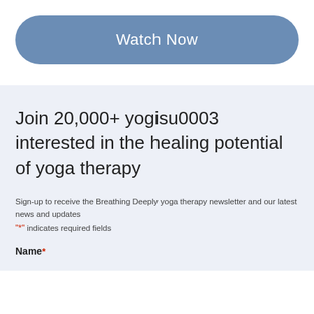[Figure (other): Blue rounded rectangle button with white text 'Watch Now']
Join 20,000+ yogisu0003 interested in the healing potential of yoga therapy
Sign-up to receive the Breathing Deeply yoga therapy newsletter and our latest news and updates
"*" indicates required fields
Name *